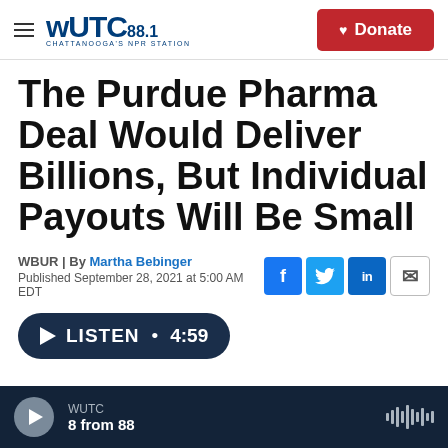WUTC 88.1 Chattanooga's NPR Station | Donate
The Purdue Pharma Deal Would Deliver Billions, But Individual Payouts Will Be Small
WBUR | By Martha Bebinger
Published September 28, 2021 at 5:00 AM EDT
LISTEN • 4:59
WUTC 8 from 88